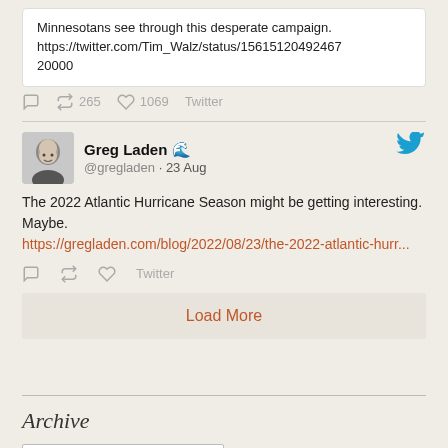Minnesotans see through this desperate campaign. https://twitter.com/Tim_Walz/status/15615120492467 20000
265 retweets · 1069 likes · Twitter
[Figure (photo): Profile photo of Greg Laden, a bald man]
Greg Laden 🌊 @gregladen · 23 Aug — The 2022 Atlantic Hurricane Season might be getting interesting. Maybe. https://gregladen.com/blog/2022/08/23/the-2022-atlantic-hurr...
Twitter
Load More
Archive